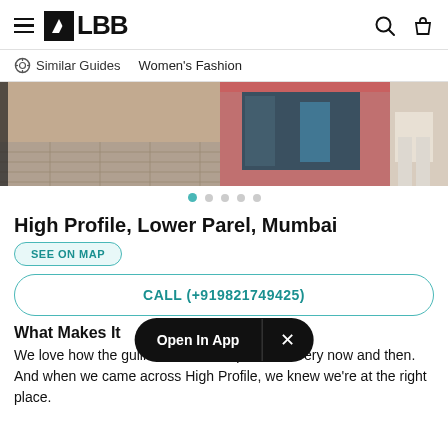LBB
Similar Guides   Women's Fashion
[Figure (photo): Street-level photo of a store front with a pink/red facade, glass display window, and a partial figure of a person in light trousers on the right edge. The ground shows a tiled pavement.]
High Profile, Lower Parel, Mumbai
SEE ON MAP
CALL (+919821749425)
What Makes It
We love how the gullies of Parel surprise us every now and then. And when we came across High Profile, we knew we're at the right place.
Open In App